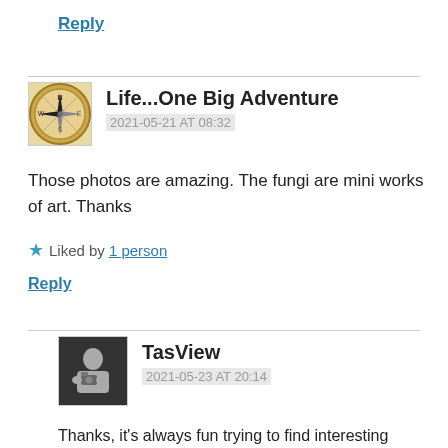Reply
Life...One Big Adventure
2021-05-21 AT 08:32
Those photos are amazing. The fungi are mini works of art. Thanks
Liked by 1 person
Reply
TasView
2021-05-23 AT 20:14
Thanks, it's always fun trying to find interesting compositions and often challenging place the camera